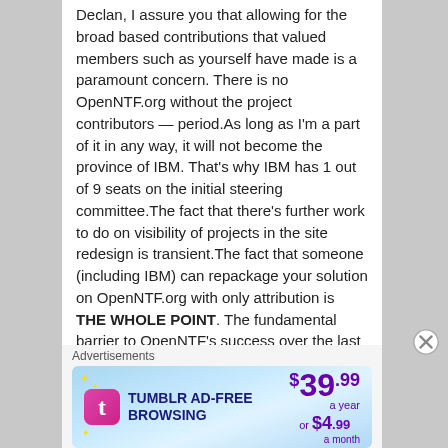Declan, I assure you that allowing for the broad based contributions that valued members such as yourself have made is a paramount concern. There is no OpenNTF.org without the project contributors — period.As long as I'm a part of it in any way, it will not become the province of IBM. That's why IBM has 1 out of 9 seats on the initial steering committee.The fact that there's further work to do on visibility of projects in the site redesign is transient.The fact that someone (including IBM) can repackage your solution on OpenNTF.org with only attribution is THE WHOLE POINT. The fundamental barrier to OpenNTF's success over the last 7 years has been that the site is the only distribution channel. Now we have the opportunity to open up new channels. If individual project owners elect not to permit them, then they can either not change their project licenses, or move their
Advertisements
[Figure (other): Tumblr Ad-Free Browsing advertisement banner showing $39.99 a year or $4.99 a month pricing with Tumblr logo]